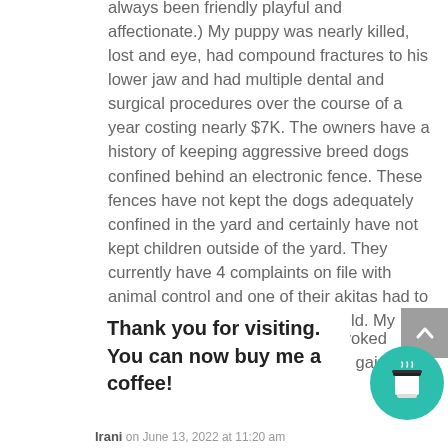always been friendly playful and affectionate.) My puppy was nearly killed, lost and eye, had compound fractures to his lower jaw and had multiple dental and surgical procedures over the course of a year costing nearly $7K. The owners have a history of keeping aggressive breed dogs confined behind an electronic fence. These fences have not kept the dogs adequately confined in the yard and certainly have not kept children outside of the yard. They currently have 4 complaints on file with animal control and one of their akitas had to be destroyed after attacking a child. My question for you is,
[Figure (other): Scroll-to-top button (grey box with up arrow)]
rovoked again?
Thank you for visiting. You can now buy me a coffee!
[Figure (illustration): Teal circular coffee cup button/icon]
Irani on June 13, 2022 at 11:20 am